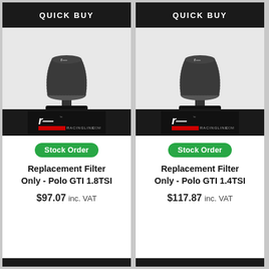QUICK BUY
[Figure (photo): Replacement air filter element (conical foam filter on black mount) with Racingline branding logo bar at bottom]
Stock Order
Replacement Filter Only - Polo GTI 1.8TSI
$97.07 inc. VAT
QUICK BUY
[Figure (photo): Replacement air filter element (conical foam filter on black mount) with Racingline branding logo bar at bottom]
Stock Order
Replacement Filter Only - Polo GTI 1.4TSI
$117.87 inc. VAT